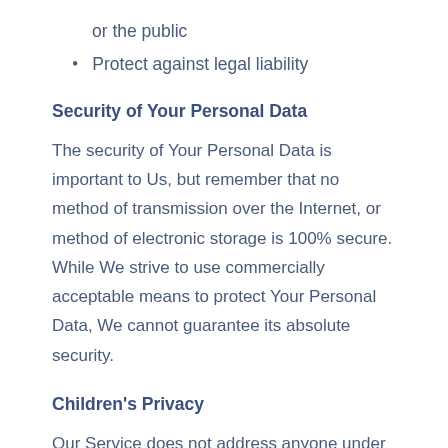or the public
Protect against legal liability
Security of Your Personal Data
The security of Your Personal Data is important to Us, but remember that no method of transmission over the Internet, or method of electronic storage is 100% secure. While We strive to use commercially acceptable means to protect Your Personal Data, We cannot guarantee its absolute security.
Children’s Privacy
Our Service does not address anyone under the age of 18. We do not knowingly collect personally identifiable information from anyone under the age of 18.